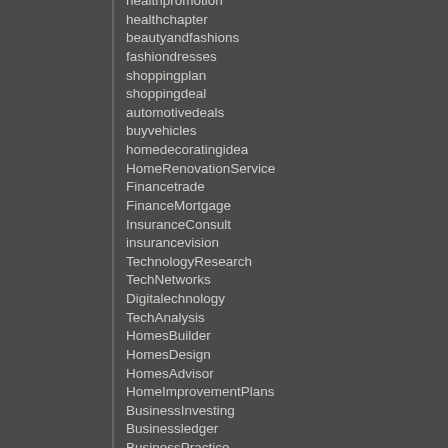healthpromotion
healthchapter
beautyandfashions
fashiondresses
shoppingplan
shoppingdeal
automotivedeals
buyvehicles
homedecoratingidea
HomeRenovationService
Financetrade
FinanceMortgage
InsuranceConsult
insurancevision
TechnologyResearch
TechNetworks
Digitalechnology
TechAnalysis
HomesBuilder
HomesDesign
HomesAdvisor
HomeImprovementPlans
BusinessInvesting
Businessledger
BusinessPractice
TravelandTour
TravelBenefits
travelroutes